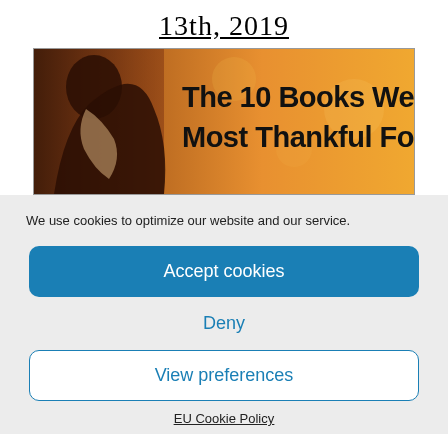13th, 2019
[Figure (illustration): Banner image showing a person in warm autumn tones with text overlay: 'The 10 Books We're Most Thankful For']
We use cookies to optimize our website and our service.
Accept cookies
Deny
View preferences
EU Cookie Policy